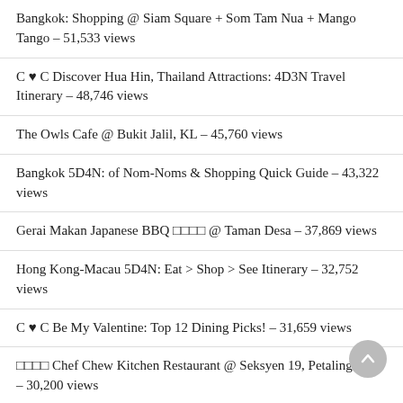Bangkok: Shopping @ Siam Square + Som Tam Nua + Mango Tango – 51,533 views
C ♥ C Discover Hua Hin, Thailand Attractions: 4D3N Travel Itinerary – 48,746 views
The Owls Cafe @ Bukit Jalil, KL – 45,760 views
Bangkok 5D4N: of Nom-Noms & Shopping Quick Guide – 43,322 views
Gerai Makan Japanese BBQ □□□□ @ Taman Desa – 37,869 views
Hong Kong-Macau 5D4N: Eat > Shop > See Itinerary – 32,752 views
C ♥ C Be My Valentine: Top 12 Dining Picks! – 31,659 views
□□□□ Chef Chew Kitchen Restaurant @ Seksyen 19, Petaling Jaya – 30,200 views
Afternoon Tea @ The Lounge, Hilton KL – 29,754 views